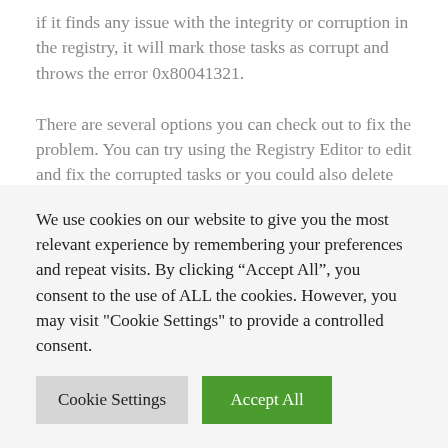if it finds any issue with the integrity or corruption in the registry, it will mark those tasks as corrupt and throws the error 0x80041321.

There are several options you can check out to fix the problem. You can try using the Registry Editor to edit and fix the corrupted tasks or you could also delete the schedule keys or the WindowsBackup file, as well as try deleting the task from the Task Scheduler or refresh the User_Feed_Synchronization. But before you of these potential fixes, make sure that you check every option and verify if it's not associated or trying to run a file which it should not. In addition, make sure that you create a System Restore point as well so that you can undo any changes
We use cookies on our website to give you the most relevant experience by remembering your preferences and repeat visits. By clicking “Accept All”, you consent to the use of ALL the cookies. However, you may visit "Cookie Settings" to provide a controlled consent.